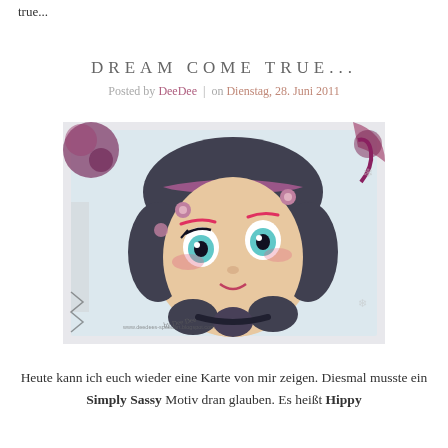true...
DREAM COME TRUE...
Posted by DeeDee | on Dienstag, 28. Juni 2011
[Figure (photo): Close-up illustration/stamp image of a cute big-eyed girl character with dark curly hair adorned with small flowers, pink accents, blue eyes, watermarked 'by Dee Dee' and 'www.deedees-speedart.blogspot.com', surrounded by purple decorative elements on a white background.]
Heute kann ich euch wieder eine Karte von mir zeigen. Diesmal musste ein Simply Sassy Motiv dran glauben. Es heißt Hippy